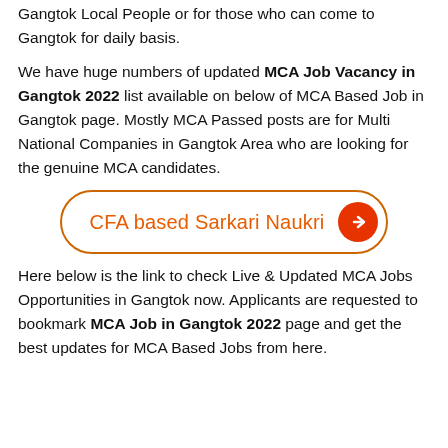Gangtok Local People or for those who can come to Gangtok for daily basis.
We have huge numbers of updated MCA Job Vacancy in Gangtok 2022 list available on below of MCA Based Job in Gangtok page. Mostly MCA Passed posts are for Multi National Companies in Gangtok Area who are looking for the genuine MCA candidates.
[Figure (other): Orange-bordered rounded button with text 'CFA based Sarkari Naukri' in orange and a red circular arrow icon]
Here below is the link to check Live & Updated MCA Jobs Opportunities in Gangtok now. Applicants are requested to bookmark MCA Job in Gangtok 2022 page and get the best updates for MCA Based Jobs from here.